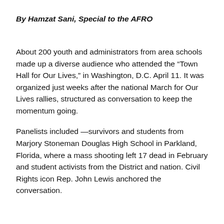By Hamzat Sani, Special to the AFRO
About 200 youth and administrators from area schools made up a diverse audience who attended the “Town Hall for Our Lives,” in Washington, D.C. April 11. It was organized just weeks after the national March for Our Lives rallies, structured as conversation to keep the momentum going.
Panelists included —survivors and students from Marjory Stoneman Douglas High School in Parkland, Florida, where a mass shooting left 17 dead in February and student activists from the District and nation. Civil Rights icon Rep. John Lewis anchored the conversation.